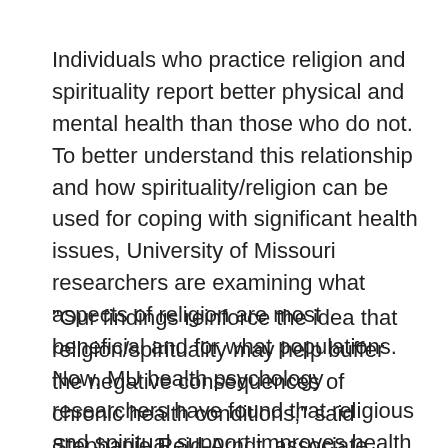Individuals who practice religion and spirituality report better physical and mental health than those who do not. To better understand this relationship and how spirituality/religion can be used for coping with significant health issues, University of Missouri researchers are examining what aspects of religion are most beneficial and for what populations. Now, MU health psychology researchers have found that religious and spiritual support improves health outcomes for both men and women who face chronic health conditions.
"Our findings reinforce the idea that religion/spirituality may help buffer the negative consequences of chronic health conditions," said Stephanie Reid-Arndt, associate professor of health psychology in the School of Health Professions. "We know that there are many ways of coping with stressful life situations, such as a